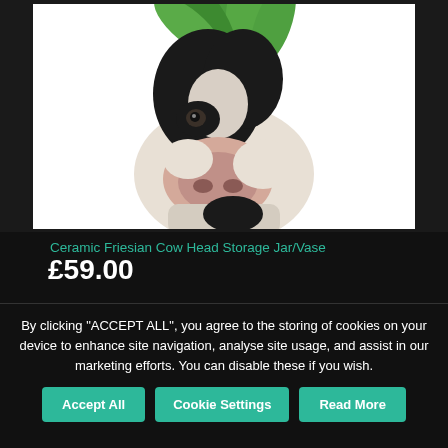[Figure (photo): Ceramic Friesian cow head storage jar/vase with green leaves coming out of the top. The ceramic piece shows a black and white cow head in realistic style against a white background.]
Ceramic Friesian Cow Head Storage Jar/Vase
£59.00
By clicking "ACCEPT ALL", you agree to the storing of cookies on your device to enhance site navigation, analyse site usage, and assist in our marketing efforts. You can disable these if you wish.
Accept All
Cookie Settings
Read More